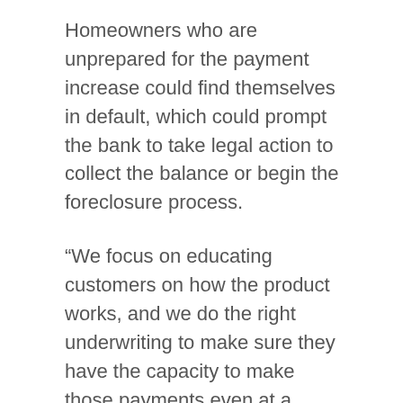Homeowners who are unprepared for the payment increase could find themselves in default, which could prompt the bank to take legal action to collect the balance or begin the foreclosure process.
“We focus on educating customers on how the product works, and we do the right underwriting to make sure they have the capacity to make those payments even at a higher rate,” says Henry Fulton, executive vice president of retail lending at Pittsburgh-based PNC Bank. He said that about 15% to 20% of PNC’s Heloc customers refinance when the loan resets, and the majority start making monthly payments of principal and interest to